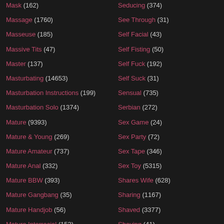Mask (162)
Massage (1760)
Masseuse (185)
Massive Tits (47)
Master (137)
Masturbating (14653)
Masturbation Instructions (199)
Masturbation Solo (1374)
Mature (9393)
Mature & Young (269)
Mature Amateur (737)
Mature Anal (332)
Mature BBW (393)
Mature Gangbang (35)
Mature Handjob (56)
Mature Interracial (153)
Seducing (374)
See Through (31)
Self Facial (43)
Self Fisting (50)
Self Fuck (192)
Self Suck (31)
Sensual (735)
Serbian (272)
Sex Game (24)
Sex Party (72)
Sex Tape (346)
Sex Toy (5315)
Shares Wife (628)
Sharing (1167)
Shaved (3377)
Shaving (41)